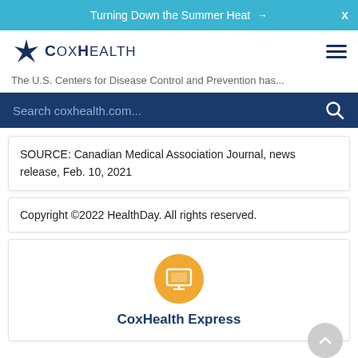Turning Down the Summer Heat →
[Figure (logo): CoxHealth logo with four-pointed star and text CoxHealth]
The U.S. Centers for Disease Control and Prevention has...
Search coxhealth.com...
SOURCE: Canadian Medical Association Journal, news release, Feb. 10, 2021
Copyright ©2022 HealthDay. All rights reserved.
CoxHealth Express